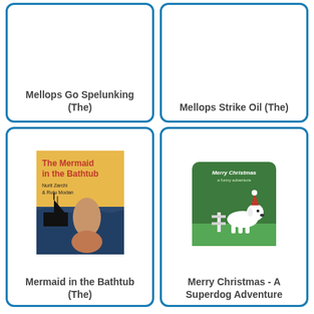[Figure (illustration): Book cover for Mellops Go Spelunking (The) - Phaidon publisher, purple/blue illustrated cover shown partially]
Mellops Go Spelunking (The)
[Figure (illustration): Book cover for Mellops Strike Oil (The) - Phaidon publisher, light yellow cover shown partially]
Mellops Strike Oil (The)
[Figure (illustration): Book cover for The Mermaid in the Bathtub by Nurit Zarchi & Rutu Modan - yellow cover with mermaid illustration and pirate ship]
Mermaid in the Bathtub (The)
[Figure (illustration): Book cover for Merry Christmas - A Superdog Adventure - green cover with cartoon dog wearing Santa hat]
Merry Christmas - A Superdog Adventure